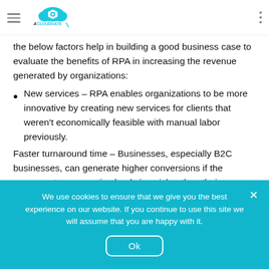ACloudGate (logo navigation header)
the below factors help in building a good business case to evaluate the benefits of RPA in increasing the revenue generated by organizations:
New services – RPA enables organizations to be more innovative by creating new services for clients that weren't economically feasible with manual labor previously.
Faster turnaround time – Businesses, especially B2C businesses, can generate higher conversions if the response to prospective leads is quicker than their competitors. RPA can streamline this
We use cookies to ensure that we give you the best experience on our website. If you continue to use this site we will assume that you are happy with it.